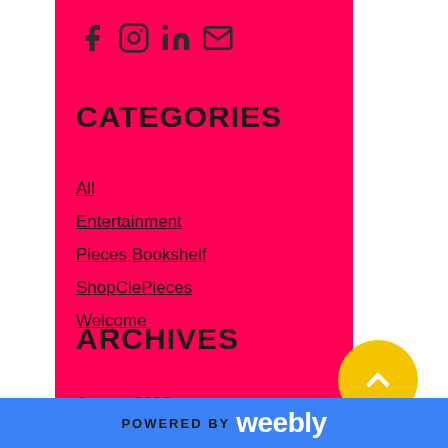[Figure (other): Social media icons: Facebook, Instagram, LinkedIn, Email]
CATEGORIES
All
Entertainment
Pieces Bookshelf
ShopClePieces
Welcome
ARCHIVES
August 2020
July 2020
June 2020
RSS Feed
POWERED BY weebly